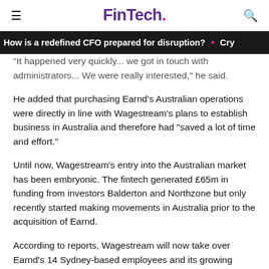FinTech.
How is a redefined CFO prepared for disruption? • Cry
"It happened very quickly... we got in touch with administrators... We were really interested," he said.
He added that purchasing Earnd's Australian operations were directly in line with Wagestream's plans to establish business in Australia and therefore had “saved a lot of time and effort.”
Until now, Wagestream’s entry into the Australian market has been embryonic. The fintech generated £65m in funding from investors Balderton and Northzone but only recently started making movements in Australia prior to the acquisition of Earnd.
According to reports, Wagestream will now take over Earnd’s 14 Sydney-based employees and its growing